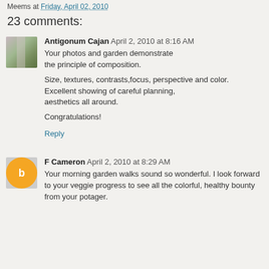Meems at Friday, April 02, 2010
23 comments:
Antigonum Cajan April 2, 2010 at 8:16 AM
Your photos and garden demonstrate the principle of composition.

Size, textures, contrasts,focus, perspective and color. Excellent showing of careful planning, aesthetics all around.

Congratulations!

Reply
F Cameron April 2, 2010 at 8:29 AM
Your morning garden walks sound so wonderful. I look forward to your veggie progress to see all the colorful, healthy bounty from your potager.